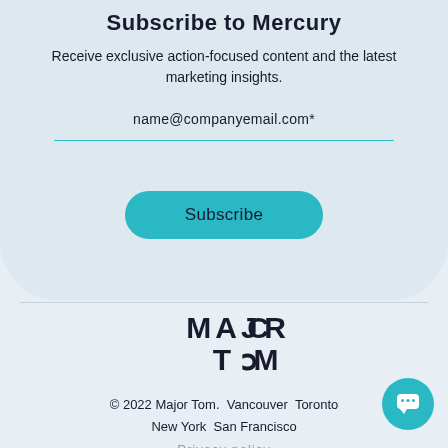Subscribe to Mercury
Receive exclusive action-focused content and the latest marketing insights.
name@companyemail.com*
Subscribe
[Figure (logo): Major Tom logo with stylized letters where O in MAJOR is replaced by a C shape and O in TOM is replaced by a U shape]
© 2022 Major Tom.  Vancouver  Toronto  New York  San Francisco
Privacy policy